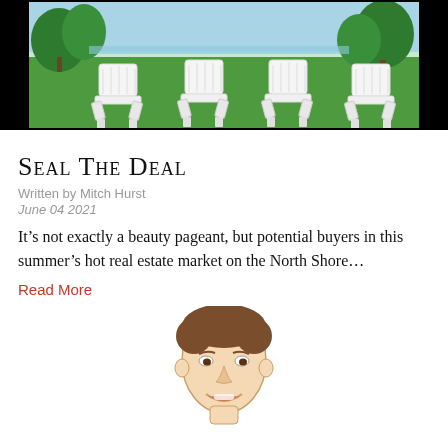[Figure (photo): Photograph of four white Adirondack chairs on a green lawn with trees and water in the background, framed by black bars on sides]
Seal The Deal
Written by Mitch Hurst
June 04 2021
It’s not exactly a beauty pageant, but potential buyers in this summer’s hot real estate market on the North Shore…
Read More
[Figure (illustration): Illustrated portrait of a young smiling man with brown hair, drawn in a sketch/cartoon style]